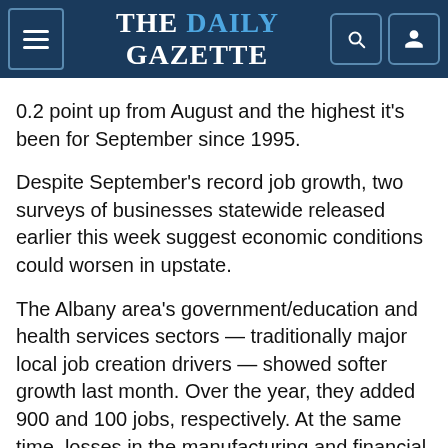THE DAILY GAZETTE
0.2 point up from August and the highest it's been for September since 1995.
Despite September's record job growth, two surveys of businesses statewide released earlier this week suggest economic conditions could worsen in upstate.
The Albany area's government/education and health services sectors — traditionally major local job creation drivers — showed softer growth last month. Over the year, they added 900 and 100 jobs, respectively. At the same time, losses in the manufacturing and financial activities sectors, which have been bleeding jobs, showed narrower losses. They shrunk by 400 and 300 jobs, respectively.